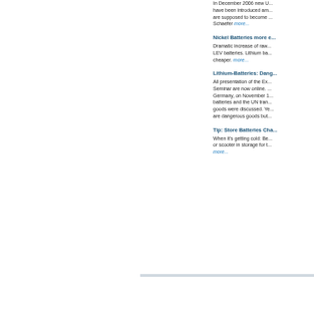In December 2006 new U... have been introduced am... are supposed to become ... Schaefer more...
Nickel Batteries more e...
Dramatic increase of raw... LEV batteries. Lithium ba... cheaper. more...
Lithium-Batteries: Dang...
All presentation of the Ex... Seminar are now online. ... Germany, on November 1... batteries and the UN tran... goods were discussed. Ye... are dangerous goods but...
Tip: Store Batteries Cha...
When it's getting cold: Be... or scooter in storage for t... more...